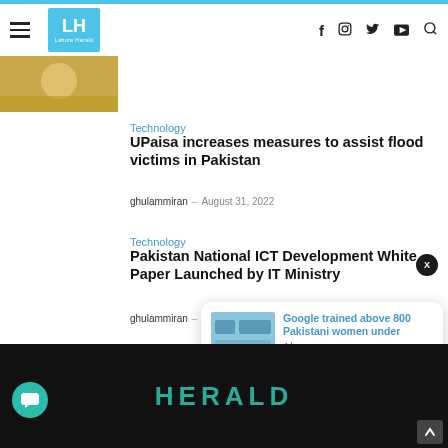LH Lahore Herald — navigation header with social icons (f, instagram, twitter, youtube, search)
[Figure (photo): Thumbnail image strip partially visible at top left]
Technology
UPaisa increases measures to assist flood victims in Pakistan
ghulammiran – August 31, 2022
Technology
Pakistan National ICT Development White Paper Launched by IT Ministry
ghulammiran – August 31, 2022
[Figure (screenshot): Notification popup: Google trained above 800 Pakistani women under — 4 hours ago, with thumbnail image]
[Figure (photo): Bottom dark banner with HERALD text in teal]